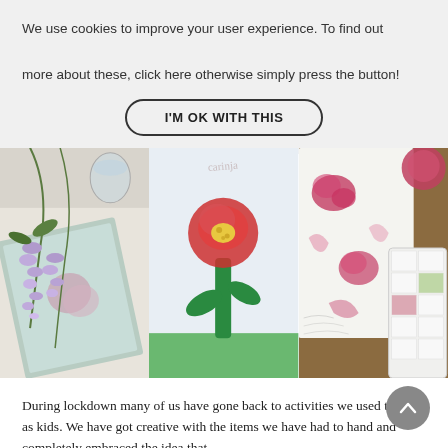We use cookies to improve your user experience. To find out more about these, click here otherwise simply press the button!
I'M OK WITH THIS
[Figure (photo): Three-panel photo strip: left panel shows purple wisteria flowers with a watercolor painting of flowers; center panel shows a child's painting of a red flower with green stem on white paper; right panel shows watercolor painting supplies and a white palette with pink flower prints.]
During lockdown many of us have gone back to activities we used to love as kids. We have got creative with the items we have had to hand and completely embraced the idea that